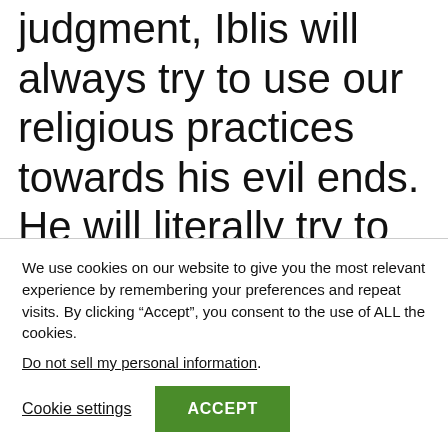judgment, Iblis will always try to use our religious practices towards his evil ends. He will literally try to infiltrate them. Most of us know well, for example, the distractions we're experiencing in our daily Salahs.
We use cookies on our website to give you the most relevant experience by remembering your preferences and repeat visits. By clicking “Accept”, you consent to the use of ALL the cookies.
Do not sell my personal information.
Cookie settings
ACCEPT